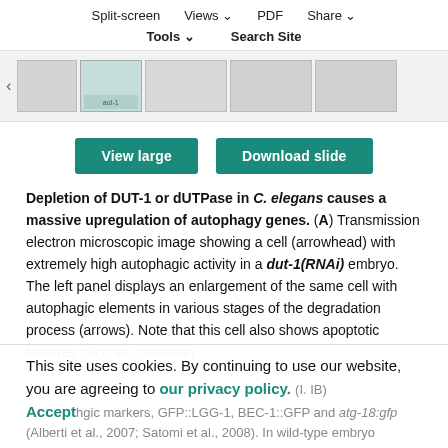Split-screen  Views  PDF  Share  Tools  Search Site
[Figure (screenshot): Thumbnail strip of microscopy images with navigation arrow on the left]
[Figure (other): View large and Download slide buttons]
Depletion of DUT-1 or dUTPase in C. elegans causes a massive upregulation of autophagy genes. (A) Transmission electron microscopic image showing a cell (arrowhead) with extremely high autophagic activity in a dut-1(RNAi) embryo. The left panel displays an enlargement of the same cell with autophagic elements in various stages of the degradation process (arrows). Note that this cell also shows apoptotic features such as chromatin
This site uses cookies. By continuing to use our website, you are agreeing to our privacy policy. Accept
ic markers, GFP::LGG-1, BEC-1::GFP and atg-18:gfp (Alberti et al., 2007; Satomi et al., 2008). In wild-type embryo